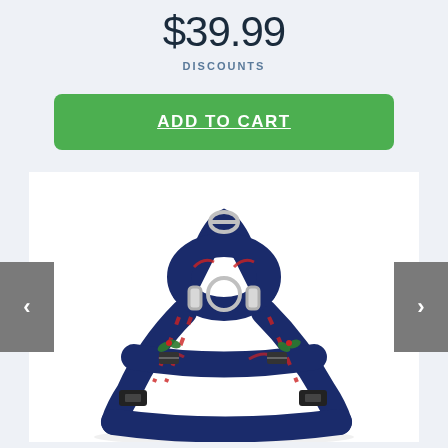$39.99
DISCOUNTS
ADD TO CART
[Figure (photo): A navy blue dog harness with a Christmas candy cane and holly pattern, featuring metal D-ring at top and plastic buckles, displayed flat against a white background.]